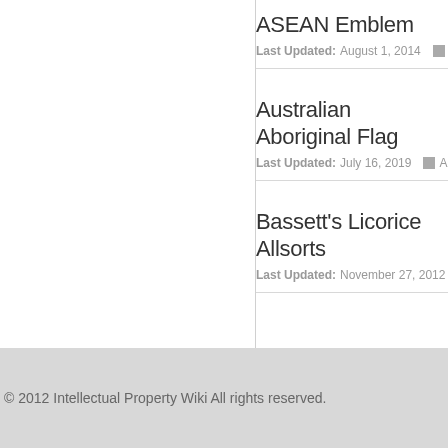ASEAN Emblem
Last Updated: August 1, 2014
Australian Aboriginal Flag
Last Updated: July 16, 2019
Bassett's Licorice Allsorts
Last Updated: November 27, 2012
© 2012 Intellectual Property Wiki All rights reserved.